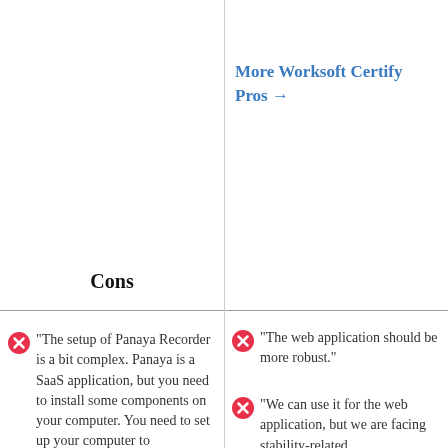More Worksoft Certify Pros →
Cons
"The setup of Panaya Recorder is a bit complex. Panaya is a SaaS application, but you need to install some components on your computer. You need to set up your computer to
"The web application should be more robust."
"We can use it for the web application, but we are facing stability-related